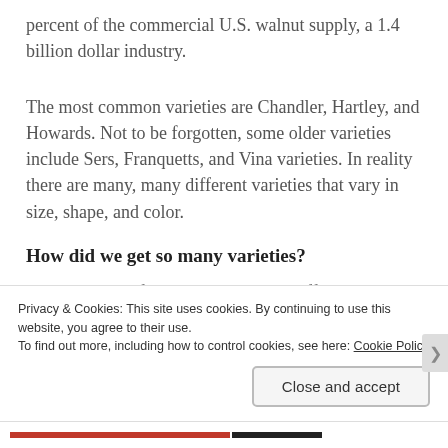percent of the commercial U.S. walnut supply, a 1.4 billion dollar industry.
The most common varieties are Chandler, Hartley, and Howards. Not to be forgotten, some older varieties include Sers, Franquetts, and Vina varieties. In reality there are many, many different varieties that vary in size, shape, and color.
How did we get so many varieties?
Like almost all fruits and vegetables different varieties are bred for vigor, disease, resistance and as always, to
Privacy & Cookies: This site uses cookies. By continuing to use this website, you agree to their use.
To find out more, including how to control cookies, see here: Cookie Policy
Close and accept